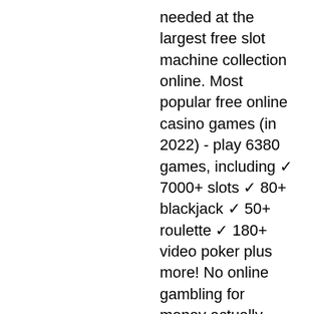needed at the largest free slot machine collection online. Most popular free online casino games (in 2022) - play 6380 games, including ✓ 7000+ slots ✓ 80+ blackjack ✓ 50+ roulette ✓ 180+ video poker plus more! No online gambling for money actually takes place on this site. No real money can be won online. Play slot machines and other types of casino games for free. ✓ no download and no registration required. ✓ risk-free play in demo mode. Play free online slots on desktop or mobile, with no download, no email requests and no pop-up ads. Voted #1 for genuine vegas casino slots. Free ott voucher code south africa. Australia all-rounder marcus stoinis played a knock of 24 runs as his side defeats south africa by five wickets in a The reviews will also let you know if there is an official app that you can download